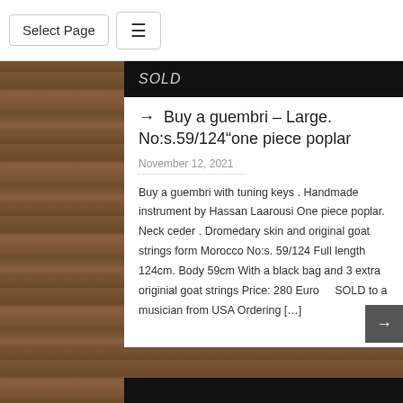Select Page
SOLD
→ Buy a guembri – Large. No:s.59/124“one piece poplar
November 12, 2021
Buy a guembri with tuning keys . Handmade instrument by Hassan Laarousi One piece poplar. Neck ceder . Dromedary skin and original goat strings form Morocco No:s. 59/124 Full length 124cm. Body 59cm With a black bag and 3 extra originial goat strings Price: 280 Euro    SOLD to a musician from USA Ordering […]